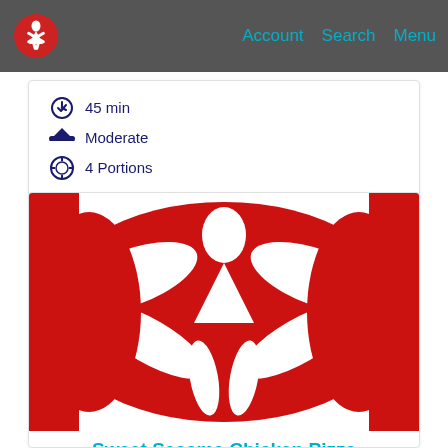Account   Search   Menu
45 min
Moderate
4 Portions
[Figure (logo): Large red stylized human figure logo (Ontario government / health education app branding) on white background]
Sweet Sesame Chicken Pizza
25 min
Easy
4 Portions